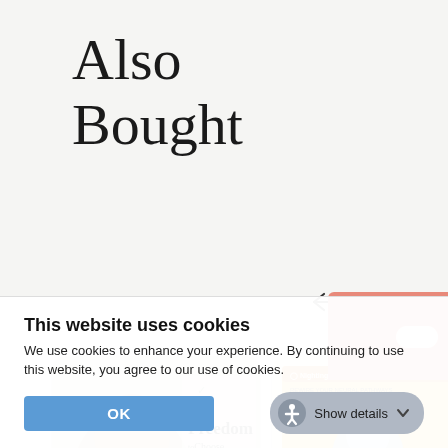Also Bought
[Figure (screenshot): Navigation arrows (left and right) for carousel]
[Figure (photo): Book cover: The Freedom to Choose Something Different by Pema Chodron]
[Figure (photo): Book cover: Self-Directed Brain Change – Rewire Your Neural Pathways for Happiness and Resilience]
This website uses cookies
We use cookies to enhance your experience. By continuing to use this website, you agree to our use of cookies.
OK
Show details